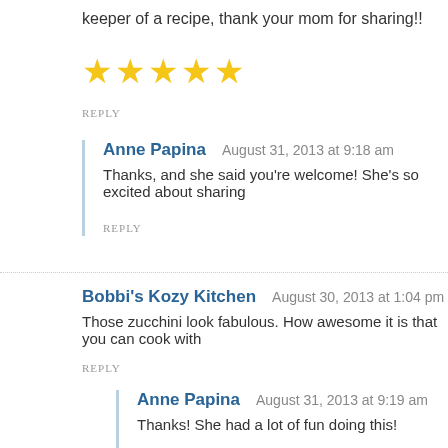keeper of a recipe, thank your mom for sharing!!
[Figure (other): Five gold star rating icons]
REPLY
Anne Papina   August 31, 2013 at 9:18 am
Thanks, and she said you're welcome! She's so excited about sharing
REPLY
Bobbi's Kozy Kitchen   August 30, 2013 at 1:04 pm
Those zucchini look fabulous. How awesome it is that you can cook with
REPLY
Anne Papina   August 31, 2013 at 9:19 am
Thanks! She had a lot of fun doing this!
REPLY